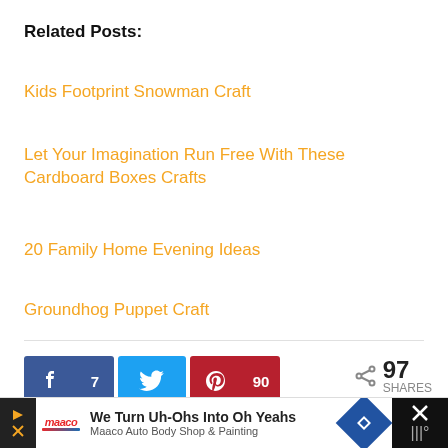Related Posts:
Kids Footprint Snowman Craft
Let Your Imagination Run Free With These Cardboard Boxes Crafts
20 Family Home Evening Ideas
Groundhog Puppet Craft
97 SHARES  (Facebook: 7, Pinterest: 90)
Filed Under: Activities & Crafts
[Figure (screenshot): Ad banner: We Turn Uh-Ohs Into Oh Yeahs — Maaco Auto Body Shop & Painting]